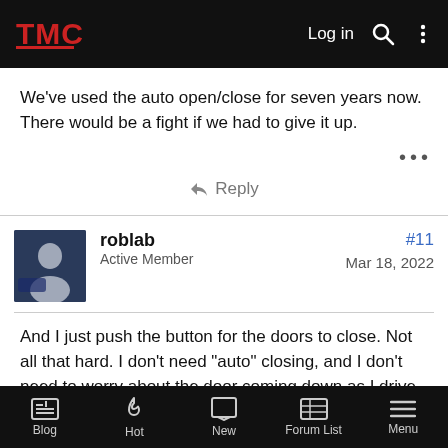TMC | Log in [search] [menu]
We've used the auto open/close for seven years now. There would be a fight if we had to give it up.
Reply
roblab
Active Member
#11
Mar 18, 2022
And I just push the button for the doors to close. Not all that hard. I don't need "auto" closing, and I don't need to worry about the door coming down as I drive into the garage. After I park, I close the doors when I leave the garage, manually pushing the button. Personally, I wouldn't trust any door opener
Blog | Hot | New | Forum List | Menu